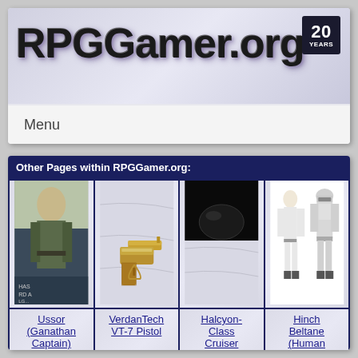[Figure (logo): RPGGamer.org logo with stylized 3D text and '20 Years' badge]
Menu
Other Pages within RPGGamer.org:
| Ussor (Ganathan Captain) | VerdanTech VT-7 Pistol | Halcyon-Class Cruiser (Refit) | Hinch Beltane (Human Governor |
| --- | --- | --- | --- |
| [comic image] | [pistol image] | [dark glove image] | [soldiers image] |
| Ussor
(Ganathan
Captain) | VerdanTech
VT-7 Pistol | Halcyon-
Class
Cruiser
(Refit) | Hinch
Beltane
(Human
Governor |